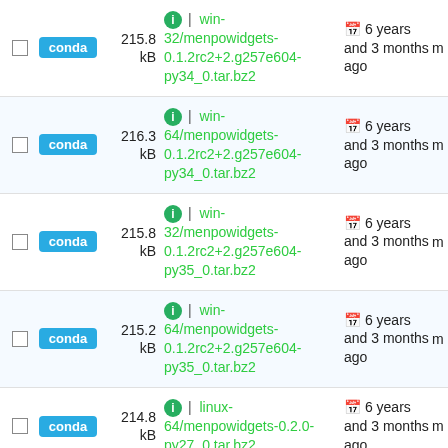|  | type | size | name | date |  |
| --- | --- | --- | --- | --- | --- |
| ☐ | conda | 215.8 kB | ℹ | win-32/menpowidgets-0.1.2rc2+2.g257e604-py34_0.tar.bz2 | 🗓 6 years and 3 months ago | m |
| ☐ | conda | 216.3 kB | ℹ | win-64/menpowidgets-0.1.2rc2+2.g257e604-py34_0.tar.bz2 | 🗓 6 years and 3 months ago | m |
| ☐ | conda | 215.8 kB | ℹ | win-32/menpowidgets-0.1.2rc2+2.g257e604-py35_0.tar.bz2 | 🗓 6 years and 3 months ago | m |
| ☐ | conda | 215.2 kB | ℹ | win-64/menpowidgets-0.1.2rc2+2.g257e604-py35_0.tar.bz2 | 🗓 6 years and 3 months ago | m |
| ☐ | conda | 214.8 kB | ℹ | linux-64/menpowidgets-0.2.0-py27_0.tar.bz2 | 🗓 6 years and 3 months ago | m |
| ☐ | conda | 215.8 kB | ℹ | linux-64/menpowidgets- | 🗓 6 years and 3 | m |